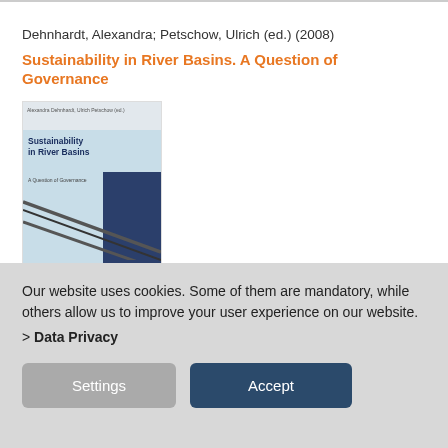Dehnhardt, Alexandra; Petschow, Ulrich (ed.) (2008)
Sustainability in River Basins. A Question of Governance
[Figure (illustration): Book cover of 'Sustainability in River Basins. A Question of Governance' edited by Alexandra Dehnhardt and Ulrich Petschow, published by pelzis. Cover shows ropes over water with blue and navy design.]
Book
Our website uses cookies. Some of them are mandatory, while others allow us to improve your user experience on our website. > Data Privacy
Settings
Accept